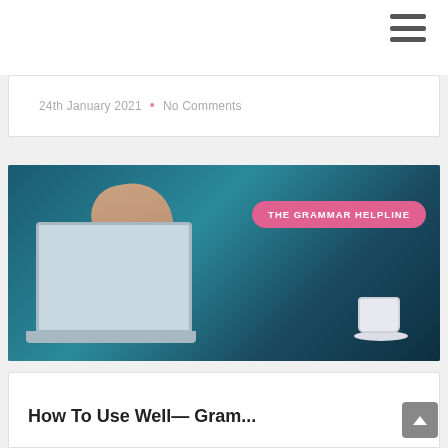24th January 2021  •  No Comments
[Figure (photo): A hand giving a thumbs up emerging from a laptop screen, with a coffee cup on the desk beside it. Pink badge overlay reads 'THE GRAMMAR HELPLINE'.]
How To Use Well — Gram…